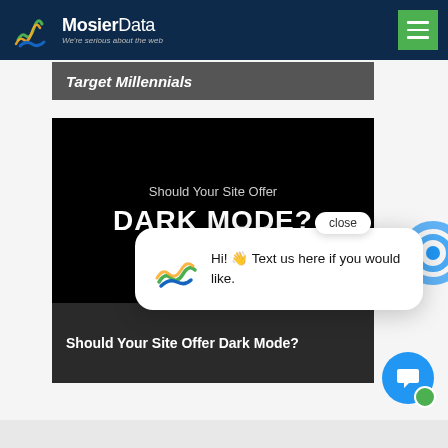[Figure (screenshot): MosierData website header with logo, tagline 'We're serious about the web', and green hamburger menu button on dark navy background]
Target Millennials
[Figure (screenshot): Article featured image with black background showing text 'Should Your Site Offer DARK MODE?']
[Figure (screenshot): Chat popup overlay showing MosierData logo and message: 'Hi! Text us here if you would like.' with close button and blue chat bubble icon]
Should Your Site Offer Dark Mode?